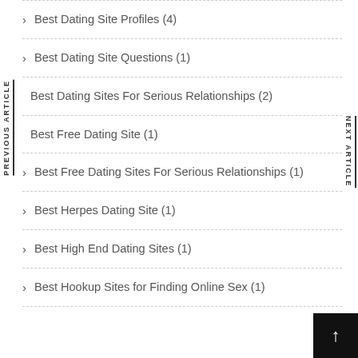Best Dating Site Profiles (4)
Best Dating Site Questions (1)
Best Dating Sites For Serious Relationships (2)
Best Free Dating Site (1)
Best Free Dating Sites For Serious Relationships (1)
Best Herpes Dating Site (1)
Best High End Dating Sites (1)
Best Hookup Sites for Finding Online Sex (1)